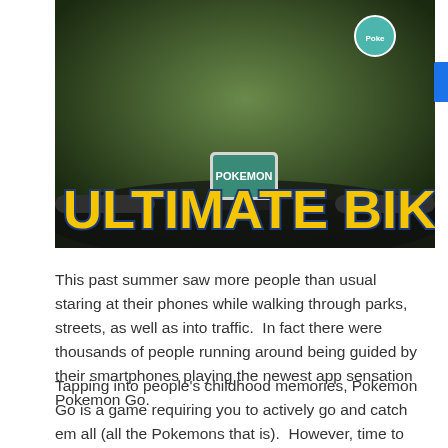[Figure (photo): Photo of bicycle handlebars with a smartphone showing Pokemon Go app, outdoor grassy background. Large yellow text 'ULTIMATE BIKE' overlaid at the bottom of the image.]
This past summer saw more people than usual staring at their phones while walking through parks, streets, as well as into traffic.  In fact there were thousands of people running around being guided by their smartphones playing the newest app sensation Pokemon Go.
Tapping into people's childhood memories, Pokemon Go is a game requiring you to actively go and catch em all (all the Pokemons that is).  However, time to get a competitive edge.  Enough with the running down Poke characters, time to up the ante and start biking and